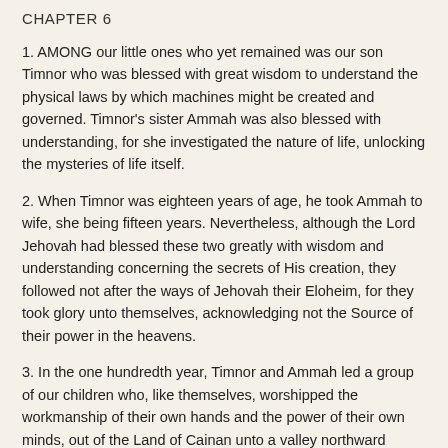CHAPTER 6
1. AMONG our little ones who yet remained was our son Timnor who was blessed with great wisdom to understand the physical laws by which machines might be created and governed. Timnor's sister Ammah was also blessed with understanding, for she investigated the nature of life, unlocking the mysteries of life itself.
2. When Timnor was eighteen years of age, he took Ammah to wife, she being fifteen years. Nevertheless, although the Lord Jehovah had blessed these two greatly with wisdom and understanding concerning the secrets of His creation, they followed not after the ways of Jehovah their Eloheim, for they took glory unto themselves, acknowledging not the Source of their power in the heavens.
3. In the one hundredth year, Timnor and Ammah led a group of our children who, like themselves, worshipped the workmanship of their own hands and the power of their own minds, out of the Land of Cainan unto a valley northward which they denominated the Land of Haner, for, said they, here shall we throw off the ways of our Fathers and follow after our own will...